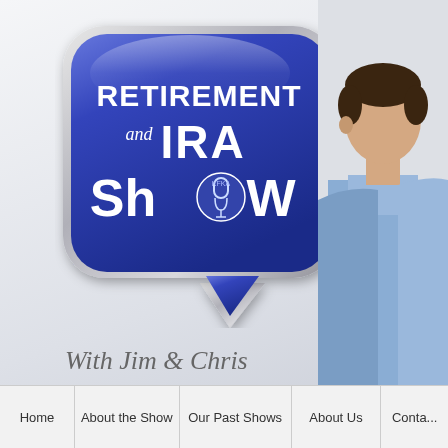[Figure (logo): Retirement and IRA Show logo — a dark blue rounded speech bubble with silver border containing white text 'RETIREMENT and IRA SHOW' and a vintage microphone icon with KFKA radio station branding. Below the bubble is a speech bubble tail pointing down-right.]
With Jim & Chris
[Figure (photo): Partial photo of a man in a light blue dress shirt, visible from chest/shoulder area upward, cropped on the right side of the image.]
Home | About the Show | Our Past Shows | About Us | Conta...